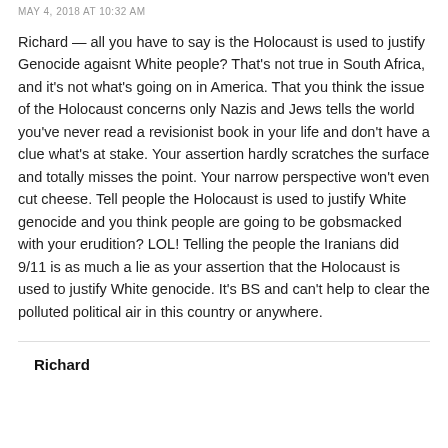MAY 4, 2018 AT 10:32 AM
Richard — all you have to say is the Holocaust is used to justify Genocide agaisnt White people? That's not true in South Africa, and it's not what's going on in America. That you think the issue of the Holocaust concerns only Nazis and Jews tells the world you've never read a revisionist book in your life and don't have a clue what's at stake. Your assertion hardly scratches the surface and totally misses the point. Your narrow perspective won't even cut cheese. Tell people the Holocaust is used to justify White genocide and you think people are going to be gobsmacked with your erudition? LOL! Telling the people the Iranians did 9/11 is as much a lie as your assertion that the Holocaust is used to justify White genocide. It's BS and can't help to clear the polluted political air in this country or anywhere.
Richard